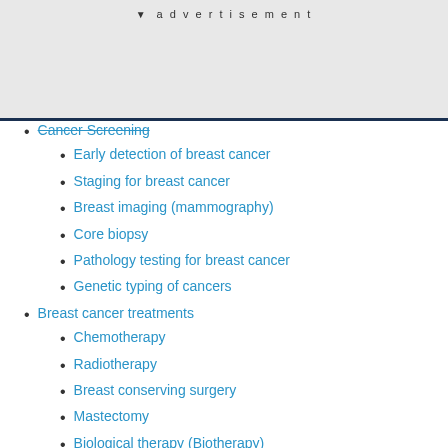advertisement
Cancer Screening (strikethrough)
Early detection of breast cancer
Staging for breast cancer
Breast imaging (mammography)
Core biopsy
Pathology testing for breast cancer
Genetic typing of cancers
Breast cancer treatments
Chemotherapy
Radiotherapy
Breast conserving surgery
Mastectomy
Biological therapy (Biotherapy)
Sexuality following breast cancer treatment
Supportive care